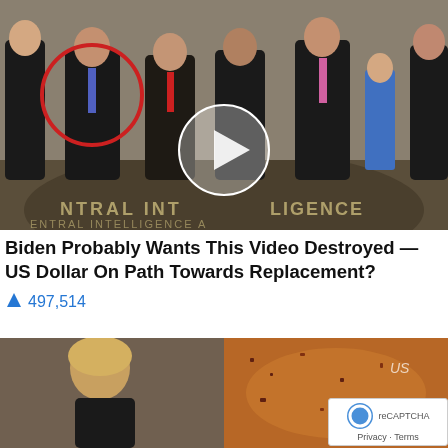[Figure (photo): Group photo taken at the CIA headquarters lobby showing multiple men in suits standing in a row, with one person circled in red on the left side. A white circle video play button overlays the center. The CIA seal is visible on the floor.]
Biden Probably Wants This Video Destroyed — US Dollar On Path Towards Replacement?
497,514
[Figure (photo): Bottom portion showing a split image: a blonde woman looking down on the left, and a dish of food (appears to be seasoned/fried) on the right. A reCAPTCHA badge is visible in the bottom right corner with Privacy and Terms text.]